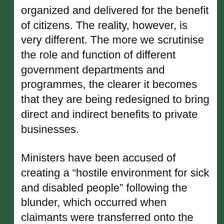organized and delivered for the benefit of citizens. The reality, however, is very different. The more we scrutinise the role and function of different government departments and programmes, the clearer it becomes that they are being redesigned to bring direct and indirect benefits to private businesses.
Ministers have been accused of creating a “hostile environment for sick and disabled people” following the blunder, which occurred when claimants were transferred onto the main sickness benefit, ESA.